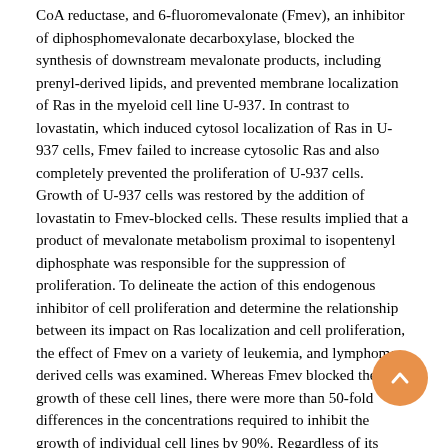CoA reductase, and 6-fluoromevalonate (Fmev), an inhibitor of diphosphomevalonate decarboxylase, blocked the synthesis of downstream mevalonate products, including prenyl-derived lipids, and prevented membrane localization of Ras in the myeloid cell line U-937. In contrast to lovastatin, which induced cytosol localization of Ras in U-937 cells, Fmev failed to increase cytosolic Ras and also completely prevented the proliferation of U-937 cells. Growth of U-937 cells was restored by the addition of lovastatin to Fmev-blocked cells. These results implied that a product of mevalonate metabolism proximal to isopentenyl diphosphate was responsible for the suppression of proliferation. To delineate the action of this endogenous inhibitor of cell proliferation and determine the relationship between its impact on Ras localization and cell proliferation, the effect of Fmev on a variety of leukemia, and lymphoma-derived cells was examined. Whereas Fmev blocked the growth of these cell lines, there were more than 50-fold differences in the concentrations required to inhibit the growth of individual cell lines by 90%. Regardless of its effect on cell proliferation, the biochemical effect of Fmev was similar. Thus, Fmev uniformly prevented the conversion of radiolabeled mevalonate to isopentenyl diphosphate and other downstream products, including synthesis of sterol and nonsterol lipids and prenylation